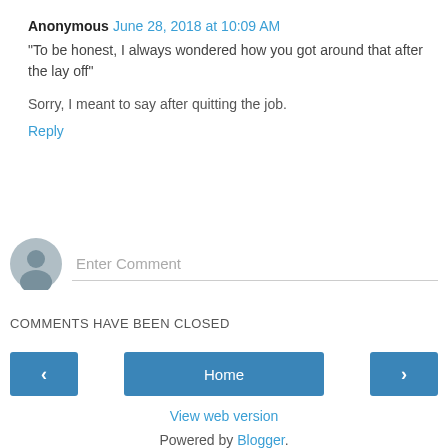Anonymous June 28, 2018 at 10:09 AM
"To be honest, I always wondered how you got around that after the lay off"
Sorry, I meant to say after quitting the job.
Reply
[Figure (other): User avatar placeholder circle with person silhouette icon, and an Enter Comment text input field below it]
COMMENTS HAVE BEEN CLOSED
< Home >
View web version
Powered by Blogger.